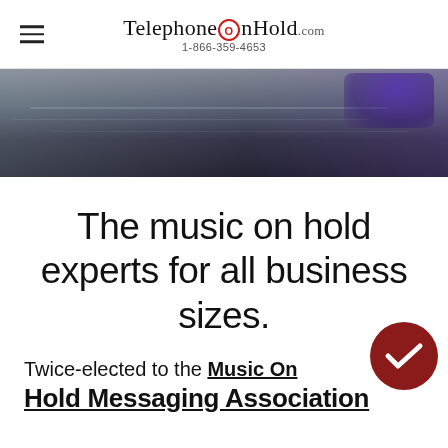TelephoneOnHold.com 1-866-359-4653
[Figure (photo): A blurred close-up photograph of what appears to be a dark metallic or electronic surface, with a purple/blue light visible in the upper right corner.]
The music on hold experts for all business sizes.
Twice-elected to the Music On Hold Messaging Association